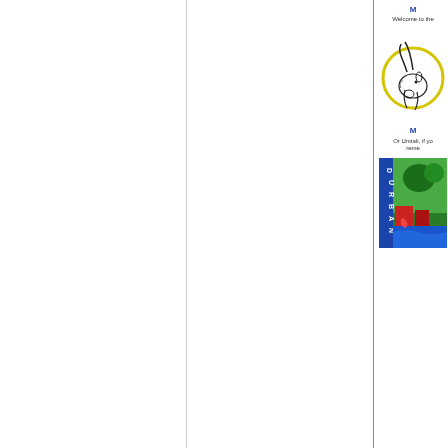M...
Welcome to the...
[Figure (illustration): Black and white illustration of an antelope/springbok head with curved horns, inside a yellow circle outline]
M...
Or Umtali, if you remember...
[Figure (illustration): Colorful vintage travel poster for Durban with tropical scenery, the word DURBAN in vertical blue letters on the left side]